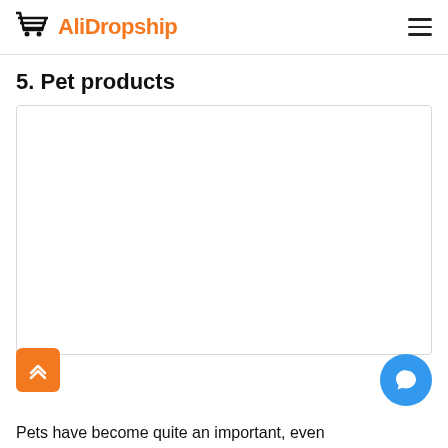AliDropship
5. Pet products
[Figure (photo): White/blank image placeholder for pet products section]
Pets have become quite an important, even